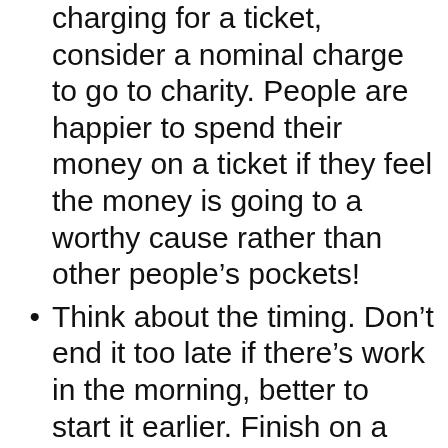charging for a ticket, consider a nominal charge to go to charity. People are happier to spend their money on a ticket if they feel the money is going to a worthy cause rather than other people's pockets!
Think about the timing. Don't end it too late if there's work in the morning, better to start it earlier. Finish on a high, so don't drag it out to the last moment. Better to finish at 11.30pm on a weeknight with everyone there than 12.30am